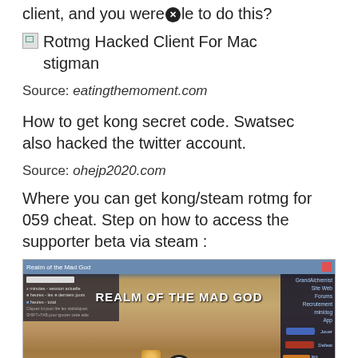client, and you were ⊗le to do this?
[□] Rotmg Hacked Client For Mac stigman
Source: eatingthemoment.com
How to get kong secret code. Swatsec also hacked the twitter account.
Source: ohejp2020.com
Where you can get kong/steam rotmg for 059 cheat. Step on how to access the supporter beta via steam :
[Figure (screenshot): Screenshot of Realm of the Mad God game client showing the main menu/lobby screen with title 'REALM OF THE MAD GOD', a left panel with session stats, right sidebar with navigation links (Site Web, Forums, Recrutement, minidog, App, Jouer, Defeat, etc.), and a close button overlay at the bottom.]